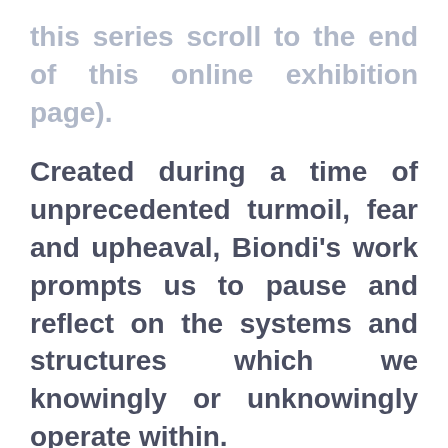this series scroll to the end of this online exhibition page).
Created during a time of unprecedented turmoil, fear and upheaval, Biondi's work prompts us to pause and reflect on the systems and structures which we knowingly or unknowingly operate within.
Built out of salvaged cardboard, Biondi's intricate, quasi-architectural paintings, are an